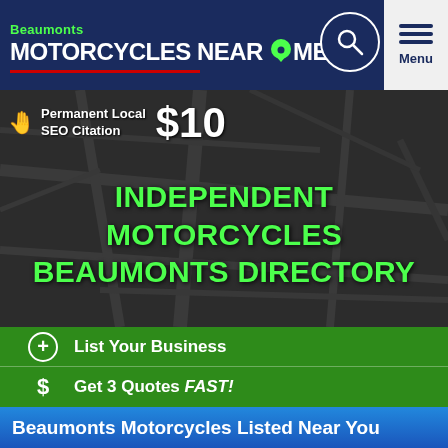Beaumonts MOTORCYCLES NEAR ME
[Figure (screenshot): Map background hero area with dark overlay showing street map]
Permanent Local SEO Citation $10
INDEPENDENT MOTORCYCLES BEAUMONTS DIRECTORY
+ List Your Business
$ Get 3 Quotes FAST!
Beaumonts Motorcycles Listed Near You
534.2kms
[Figure (other): Star rating display showing 5 empty/outline stars, and a location pin icon]